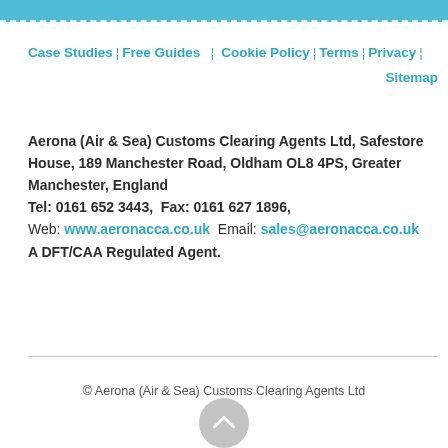Case Studies | Free Guides | Cookie Policy | Terms | Privacy | Sitemap
Aerona (Air & Sea) Customs Clearing Agents Ltd, Safestore House, 189 Manchester Road, Oldham OL8 4PS, Greater Manchester, England
Tel: 0161 652 3443,  Fax: 0161 627 1896,
Web: www.aeronacca.co.uk  Email: sales@aeronacca.co.uk
A DFT/CAA Regulated Agent.
© Aerona (Air & Sea) Customs Clearing Agents Ltd